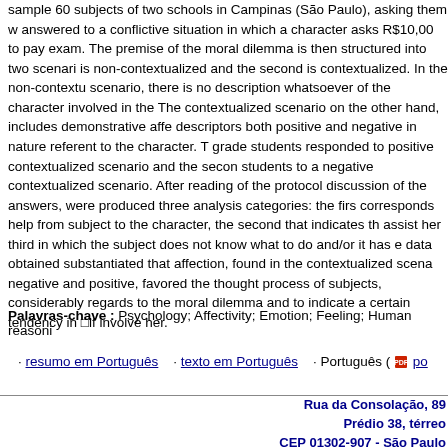sample 60 subjects of two schools in Campinas (São Paulo), asking them w answered to a conflictive situation in which a character asks R$10,00 to pay exam. The premise of the moral dilemma is then structured into two scenari is non-contextualized and the second is contextualized. In the non-contextu scenario, there is no description whatsoever of the character involved in the The contextualized scenario on the other hand, includes demonstrative affe descriptors both positive and negative in nature referent to the character. T grade students responded to positive contextualized scenario and the secon students to a negative contextualized scenario. After reading of the protocol discussion of the answers, were produced three analysis categories: the firs corresponds help from subject to the character, the second that indicates th assist her third in which the subject does not know what to do and/or it has data obtained substantiated that affection, found in the contextualized scena negative and positive, favored the thought process of subjects, considerably regards to the moral dilemma and to indicate a certain tendency in □if involve her.
Palavras-chave : Psychology; Affectivity; Emotion; Feeling; Human reasoni
· resumo em Português · texto em Português · Português ( po
Rua da Consolação, 89 Prédio 38, térreo CEP 01302-907 - São Paulo Tel.: +55 11 2114-8142 eMail revistapsico@mackenzie.co